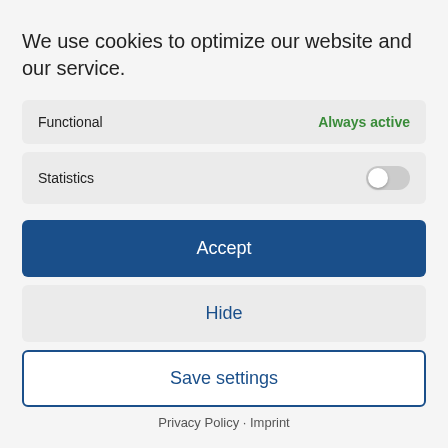We use cookies to optimize our website and our service.
Functional   Always active
Statistics
Accept
Hide
Save settings
Privacy Policy · Imprint